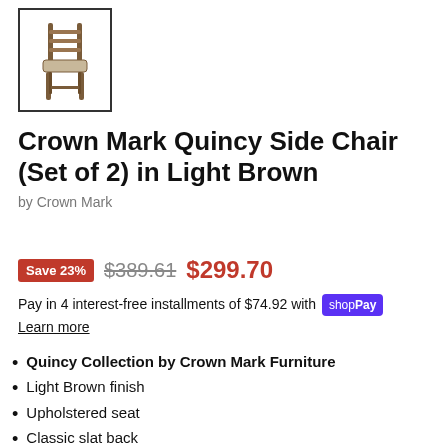[Figure (photo): Thumbnail image of Crown Mark Quincy Side Chair in Light Brown, shown in a bordered box]
Crown Mark Quincy Side Chair (Set of 2) in Light Brown
by Crown Mark
Save 23%  $389.61  $299.70
Pay in 4 interest-free installments of $74.92 with shop Pay
Learn more
Quincy Collection by Crown Mark Furniture
Light Brown finish
Upholstered seat
Classic slat back
Sold in set of 2